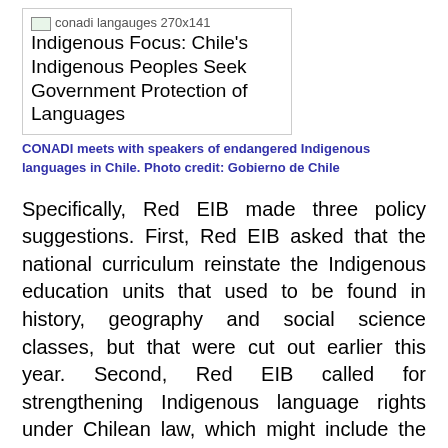[Figure (photo): Image placeholder showing conadi langauges 270x141 with title: Indigenous Focus: Chile's Indigenous Peoples Seek Government Protection of Languages]
CONADI meets with speakers of endangered Indigenous languages in Chile. Photo credit: Gobierno de Chile
Specifically, Red EIB made three policy suggestions. First, Red EIB asked that the national curriculum reinstate the Indigenous education units that used to be found in history, geography and social science classes, but that were cut out earlier this year. Second, Red EIB called for strengthening Indigenous language rights under Chilean law, which might include the creation of a "National Institute on Indigenous Languages." And finally, the organization submitted a proposal to include intercultural education—including bilingual education—throughout the country.